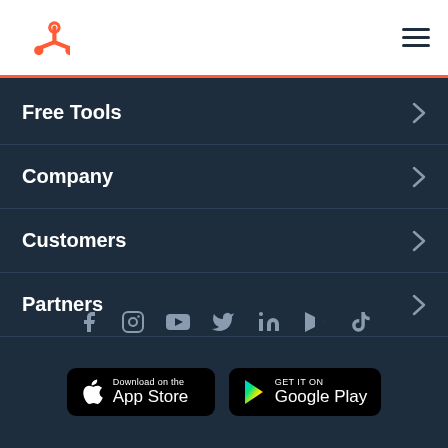HubSpot navigation header with logo and hamburger menu
Free Tools
Company
Customers
Partners
[Figure (infographic): Social media icons row: Facebook, Instagram, YouTube, Twitter, LinkedIn, Vimeo/Notion, TikTok]
[Figure (infographic): App store download buttons: Download on the App Store and GET IT ON Google Play]